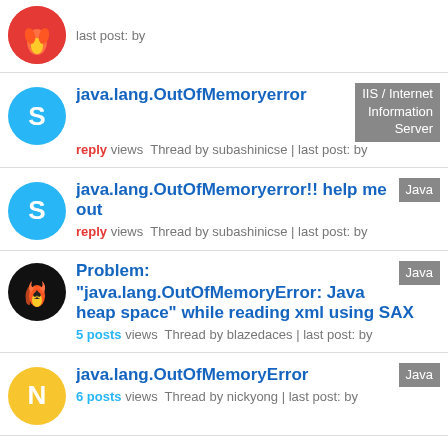last post: by
java.lang.OutOfMemoryerror
reply views Thread by subashinicse | last post: by
Tag: IIS / Internet Information Server
java.lang.OutOfMemoryerror!! help me out
reply views Thread by subashinicse | last post: by
Tag: Java
Problem:
"java.lang.OutOfMemoryError: Java heap space" while reading xml using SAX
5 posts views Thread by blazedaces | last post: by
Tag: Java
java.lang.OutOfMemoryError
6 posts views Thread by nickyong | last post: by
Tag: Java